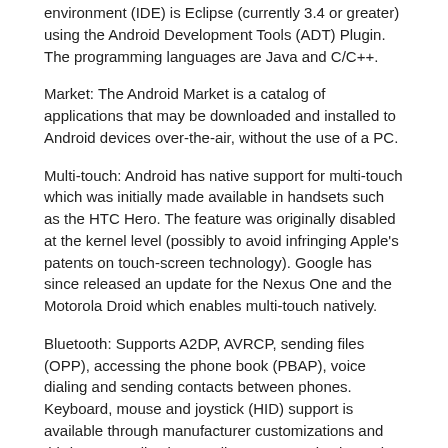environment (IDE) is Eclipse (currently 3.4 or greater) using the Android Development Tools (ADT) Plugin. The programming languages are Java and C/C++.
Market: The Android Market is a catalog of applications that may be downloaded and installed to Android devices over-the-air, without the use of a PC.
Multi-touch: Android has native support for multi-touch which was initially made available in handsets such as the HTC Hero. The feature was originally disabled at the kernel level (possibly to avoid infringing Apple's patents on touch-screen technology). Google has since released an update for the Nexus One and the Motorola Droid which enables multi-touch natively.
Bluetooth: Supports A2DP, AVRCP, sending files (OPP), accessing the phone book (PBAP), voice dialing and sending contacts between phones. Keyboard, mouse and joystick (HID) support is available through manufacturer customizations and third-party applications. Full HID support is planned for Android 3.0 (Honeycomb).
Video calling: The mainstream Android version does not support video calling, but some handsets have a customized version of the operating system which supports it, either via UMTS network (like the Samsung Galaxy S) or over IP. Video calling through Google Talk is planned for